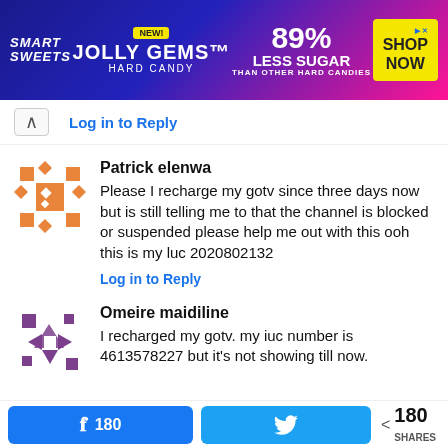[Figure (photo): Smart Sweets Jolly Gems Hard Candy advertisement banner. Blue and pink gradient background with candy imagery. Text: NEW! JOLLY GEMS HARD CANDY, 89% LESS SUGAR THAN OTHER HARD CANDIES, SHOP NOW button.]
Log in to Reply
Patrick elenwa
Please I recharge my gotv since three days now but is still telling me to that the channel is blocked or suspended please help me out with this ooh this is my luc 2020802132
Log in to Reply
Omeire maidiline
I recharged my gotv. my iuc number is 4613578227 but it's not showing till now.
180
180 SHARES